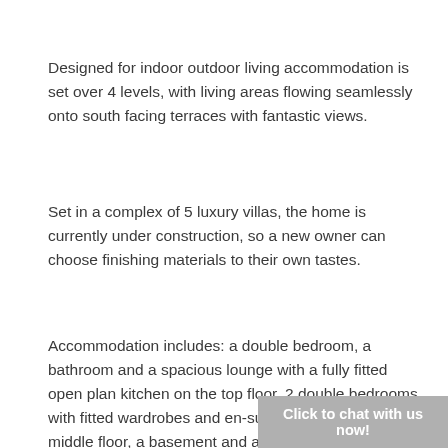Designed for indoor outdoor living accommodation is set over 4 levels, with living areas flowing seamlessly onto south facing terraces with fantastic views.
Set in a complex of 5 luxury villas, the home is currently under construction, so a new owner can choose finishing materials to their own tastes.
Accommodation includes: a double bedroom, a bathroom and a spacious lounge with a fully fitted open plan kitchen on the top floor, 2 double bedrooms with fitted wardrobes and en-suite bathrooms on the middle floor, a basement and a storage room at the garage level.
Click to chat with us now!